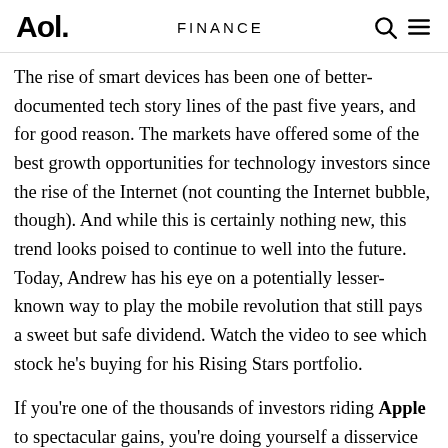Aol. FINANCE
The rise of smart devices has been one of better-documented tech story lines of the past five years, and for good reason. The markets have offered some of the best growth opportunities for technology investors since the rise of the Internet (not counting the Internet bubble, though). And while this is certainly nothing new, this trend looks poised to continue to well into the future. Today, Andrew has his eye on a potentially lesser-known way to play the mobile revolution that still pays a sweet but safe dividend. Watch the video to see which stock he's buying for his Rising Stars portfolio.
If you're one of the thousands of investors riding Apple to spectacular gains, you're doing yourself a disservice by not looking across the whole variety of companies benefiting from the same trends making Apple the most